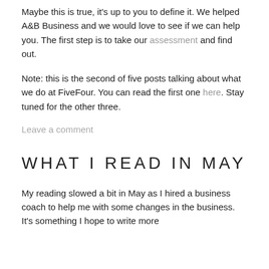Maybe this is true, it's up to you to define it. We helped A&B Business and we would love to see if we can help you. The first step is to take our assessment and find out.
Note: this is the second of five posts talking about what we do at FiveFour. You can read the first one here. Stay tuned for the other three.
Leave a comment
WHAT I READ IN MAY
My reading slowed a bit in May as I hired a business coach to help me with some changes in the business. It's something I hope to write more